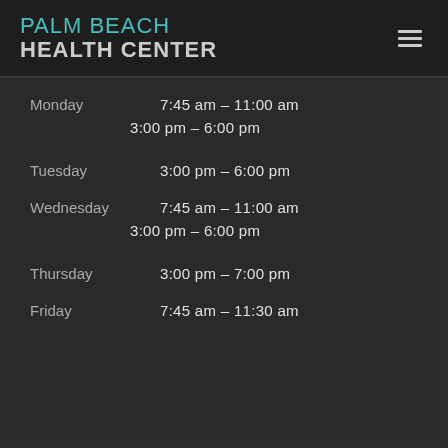PALM BEACH HEALTH CENTER
| Day | Hours |
| --- | --- |
| Monday | 7:45 am – 11:00 am |
|  | 3:00 pm – 6:00 pm |
| Tuesday | 3:00 pm – 6:00 pm |
| Wednesday | 7:45 am – 11:00 am |
|  | 3:00 pm – 6:00 pm |
| Thursday | 3:00 pm – 7:00 pm |
| Friday | 7:45 am – 11:30 am |